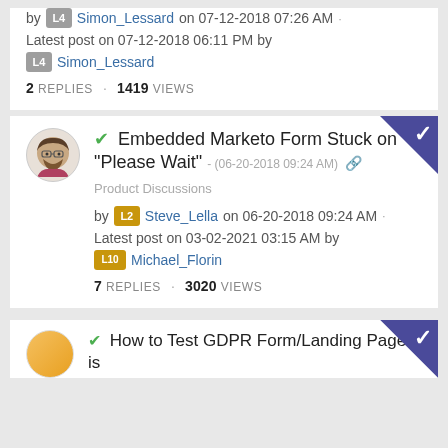by [L4] Simon_Lessard on 07-12-2018 07:26 AM
Latest post on 07-12-2018 06:11 PM by [L4] Simon_Lessard
2 REPLIES · 1419 VIEWS
✓ Embedded Marketo Form Stuck on "Please Wait" - (06-20-2018 09:24 AM)
Product Discussions
by [L2] Steve_Lella on 06-20-2018 09:24 AM
Latest post on 03-02-2021 03:15 AM by [L10] Michael_Florin
7 REPLIES · 3020 VIEWS
✓ How to Test GDPR Form/Landing Page is